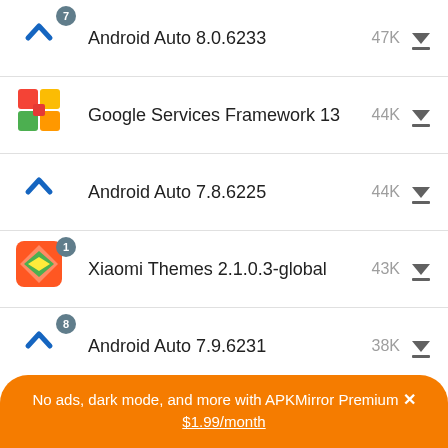Android Auto 8.0.6233 47K
Google Services Framework 13 44K
Android Auto 7.8.6225 44K
Xiaomi Themes 2.1.0.3-global 43K
Android Auto 7.9.6231 38K
No ads, dark mode, and more with APKMirror Premium × $1.99/month